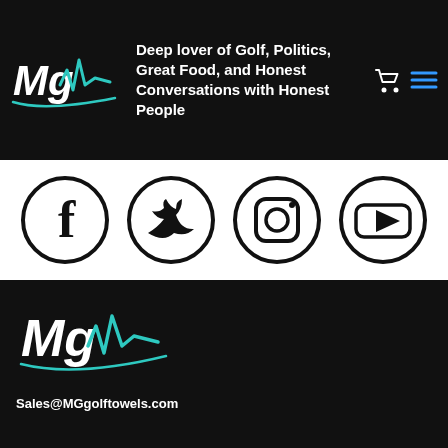[Figure (logo): MG Golf Towels logo in white and teal on black header]
Deep lover of Golf, Politics, Great Food, and Honest Conversations with Honest People
[Figure (infographic): Four social media icons in circles: Facebook, Twitter, Instagram, YouTube]
[Figure (logo): MG Golf Towels logo in white and teal on black footer]
Sales@MGgolftowels.com